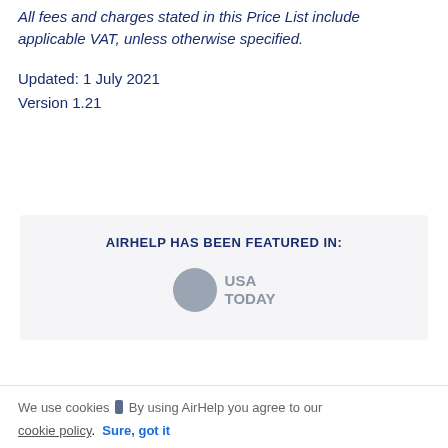All fees and charges stated in this Price List include applicable VAT, unless otherwise specified.
Updated: 1 July 2021
Version 1.21
[Figure (infographic): AirHelp has been featured in: USA Today logo (grey circle with USA TODAY text)]
We use cookies ▮ By using AirHelp you agree to our cookie policy.  Sure, got it